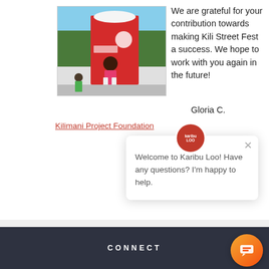[Figure (photo): Photo of a person in a red t-shirt standing in front of a red portable toilet/sanitation unit, with greenery in the background and other people visible.]
We are grateful for your contribution towards making Kili Street Fest a success. We hope to work with you again in the future!
Gloria C.
Kilimani Project Foundation
[Figure (screenshot): Chat widget popup from Karibu Loo with logo, close button, and message: Welcome to Karibu Loo! Have any questions? I'm happy to help.]
CONNECT